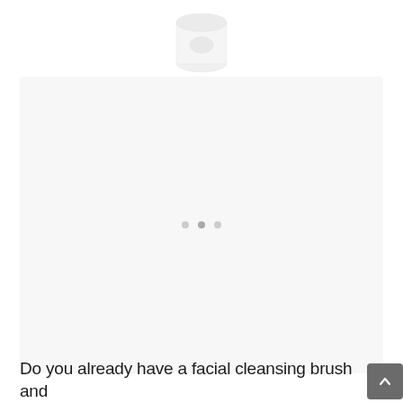[Figure (photo): A white cylindrical product (facial cleansing brush device) shown from above against a white background, only the bottom portion visible at the top of the page.]
[Figure (screenshot): A light gray carousel/image gallery placeholder box with three navigation dots in the center.]
Do you already have a facial cleansing brush and